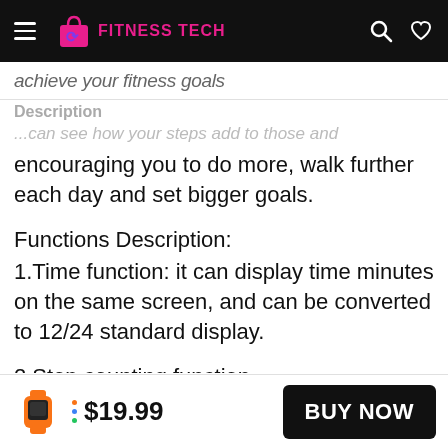FITNESS TECH
achieve your fitness goals
Description
encouraging you to do more, walk further each day and set bigger goals.
Functions Description:
1.Time function: it can display time minutes on the same screen, and can be converted to 12/24 standard display.
2.Step counting function.
●Convert metric system display.
$19.99
BUY NOW